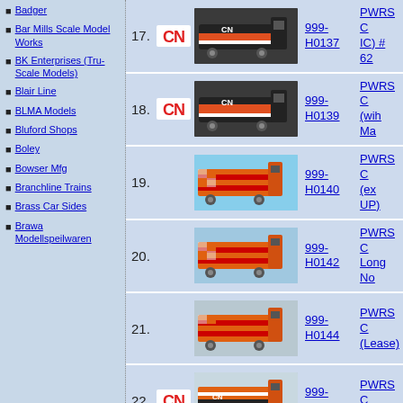Badger
Bar Mills Scale Model Works
BK Enterprises (Tru-Scale Models)
Blair Line
BLMA Models
Bluford Shops
Boley
Bowser Mfg
Branchline Trains
Brass Car Sides
Brawa Modellspeilwaren
| # | Logo | Image | SKU | Description |
| --- | --- | --- | --- | --- |
| 17. | CN | [loco image] | 999-H0137 | PWRS C IC) # 62 |
| 18. | CN | [loco image] | 999-H0139 | PWRS C (wih Ma |
| 19. |  | [loco image] | 999-H0140 | PWRS C (ex UP) |
| 20. |  | [loco image] | 999-H0142 | PWRS C Long No |
| 21. |  | [loco image] | 999-H0144 | PWRS C (Lease) |
| 22. | CN | [loco image] | 999-H0147 | PWRS C IC/ with |